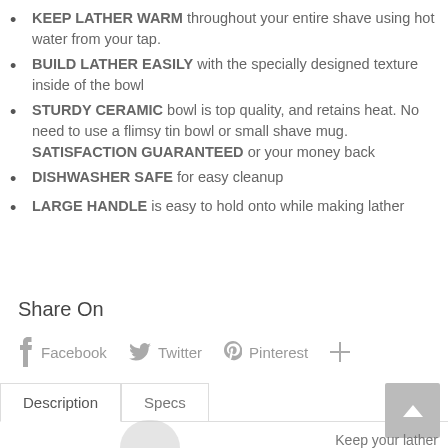KEEP LATHER WARM throughout your entire shave using hot water from your tap.
BUILD LATHER EASILY with the specially designed texture inside of the bowl
STURDY CERAMIC bowl is top quality, and retains heat. No need to use a flimsy tin bowl or small shave mug. SATISFACTION GUARANTEED or your money back
DISHWASHER SAFE for easy cleanup
LARGE HANDLE is easy to hold onto while making lather
Share On
[Figure (infographic): Social share icons: Facebook, Twitter, Pinterest, and a plus button]
Description | Specs
Keep your lather